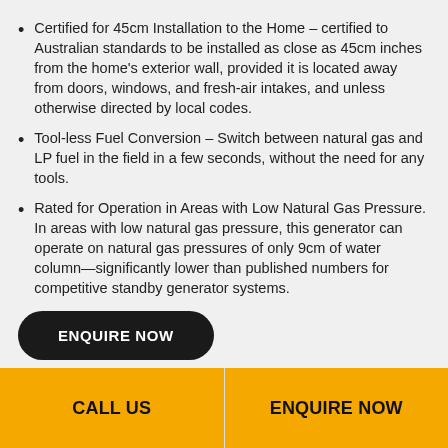Certified for 45cm Installation to the Home – certified to Australian standards to be installed as close as 45cm inches from the home's exterior wall, provided it is located away from doors, windows, and fresh-air intakes, and unless otherwise directed by local codes.
Tool-less Fuel Conversion – Switch between natural gas and LP fuel in the field in a few seconds, without the need for any tools.
Rated for Operation in Areas with Low Natural Gas Pressure. In areas with low natural gas pressure, this generator can operate on natural gas pressures of only 9cm of water column—significantly lower than published numbers for competitive standby generator systems.
ENQUIRE NOW
CALL US | ENQUIRE NOW